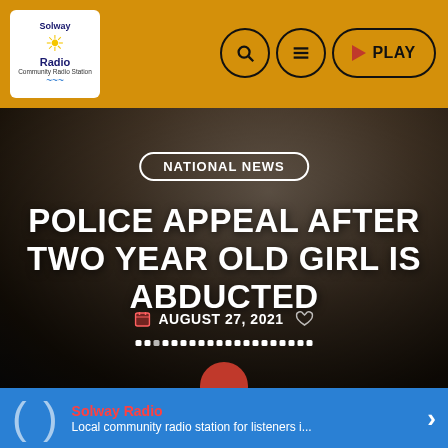[Figure (screenshot): Solway Radio website header with orange background, logo on left (white box with sun icon), and navigation icons (search, menu, play button) on right]
[Figure (photo): Dark blurry background photo of a child, with overlaid news article content including category pill 'NATIONAL NEWS', headline 'POLICE APPEAL AFTER TWO YEAR OLD GIRL IS ABDUCTED', date 'AUGUST 27, 2021', and pagination dots]
POLICE APPEAL AFTER TWO YEAR OLD GIRL IS ABDUCTED
NATIONAL NEWS
AUGUST 27, 2021
Solway Radio
Local community radio station for listeners i...